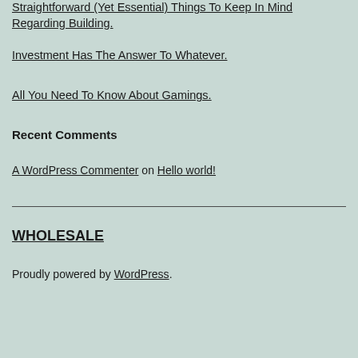Straightforward (Yet Essential) Things To Keep In Mind Regarding Building.
Investment Has The Answer To Whatever.
All You Need To Know About Gamings.
Recent Comments
A WordPress Commenter on Hello world!
WHOLESALE
Proudly powered by WordPress.